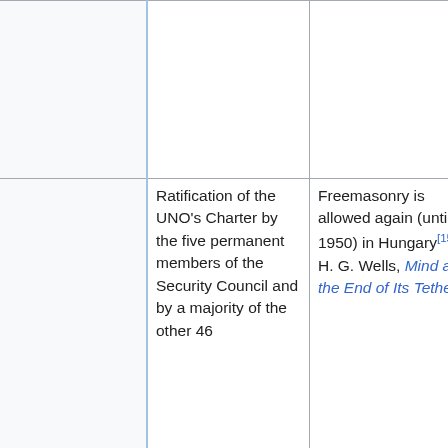|  |  |  | Great Transformation (UK) |
|  | Ratification of the UNO's Charter by the five permanent members of the Security Council and by a majority of the other 46 | Freemasonry is allowed again (until 1950) in Hungary[15]; H. G. Wells, Mind at the End of Its Tether |  |